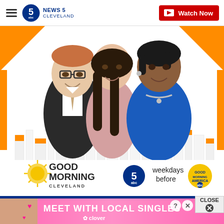NEWS 5 CLEVELAND — Watch Now
[Figure (photo): Good Morning Cleveland promotional image showing three news anchors (one man in suit with glasses and tie, one woman with long dark hair in pink top, one woman in blue top with short hair) in front of an orange and white city skyline background with Good Morning Cleveland logo, channel 5 abc badge, 'weekdays before' text, and Good Morning America badge]
[Figure (advertisement): Meet With Local Singles advertisement banner with pink gradient background, woman with headset on left side, pink hearts decorations, main text MEET WITH LOCAL SINGLES in white bold, clover app branding below]
MEET WITH LOCAL SINGLES
clover